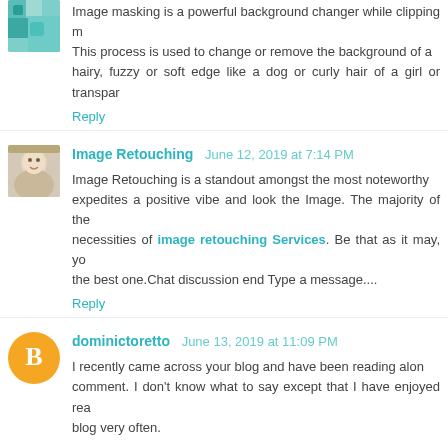[Figure (photo): Small avatar thumbnail showing colorful pattern/image]
Image masking is a powerful background changer while clipping m... This process is used to change or remove the background of a... hairy, fuzzy or soft edge like a dog or curly hair of a girl or transpar...
Reply
[Figure (photo): Small avatar thumbnail of a woman]
Image Retouching  June 12, 2019 at 7:14 PM
Image Retouching is a standout amongst the most noteworthy... expedites a positive vibe and look the Image. The majority of the... necessities of image retouching Services. Be that as it may, yo... the best one.Chat discussion end Type a message....
Reply
[Figure (illustration): Orange circle avatar with blogger B logo]
dominictoretto  June 13, 2019 at 11:09 PM
I recently came across your blog and have been reading alon... comment. I don't know what to say except that I have enjoyed rea... blog very often.
Hooda Math
Didi Games
Girlsgogames
Reply
Anonymous  June 14, 2019 at 5:08 AM